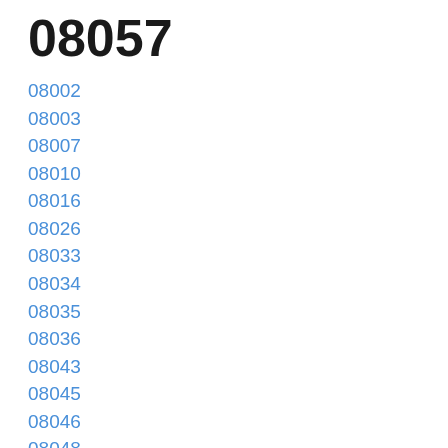08057
08002
08003
08007
08010
08016
08026
08033
08034
08035
08036
08043
08045
08046
08048
08049
08052
08053
08054
08055
08059
08060